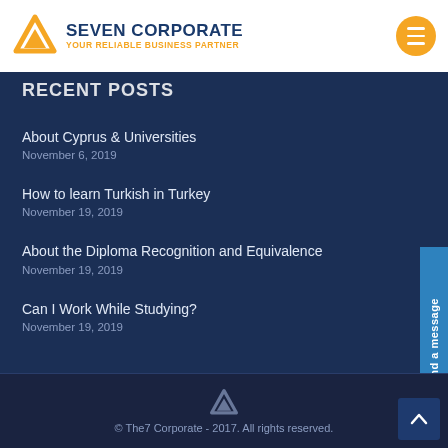SEVEN CORPORATE - YOUR RELIABLE BUSINESS PARTNER
RECENT POSTS
About Cyprus & Universities
November 6, 2019
How to learn Turkish in Turkey
November 19, 2019
About the Diploma Recognition and Equivalence
November 19, 2019
Can I Work While Studying?
November 19, 2019
© The7 Corporate - 2017. All rights reserved.